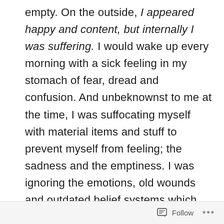empty. On the outside, I appeared happy and content, but internally I was suffering. I would wake up every morning with a sick feeling in my stomach of fear, dread and confusion. And unbeknownst to me at the time, I was suffocating myself with material items and stuff to prevent myself from feeling; the sadness and the emptiness. I was ignoring the emotions, old wounds and outdated belief systems which needed to be looked at and resolved.

Looking back now, I realize that I had what you
Follow ...